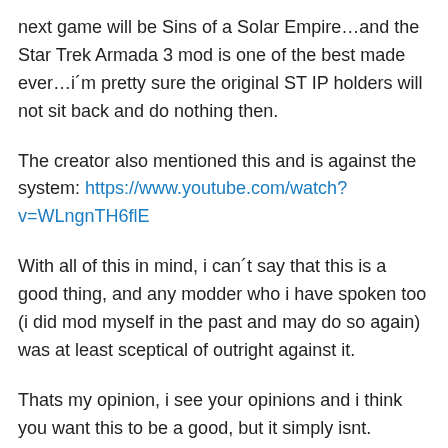next game will be Sins of a Solar Empire…and the Star Trek Armada 3 mod is one of the best made ever…i´m pretty sure the original ST IP holders will not sit back and do nothing then.
The creator also mentioned this and is against the system: https://www.youtube.com/watch?v=WLngnTH6flE
With all of this in mind, i can´t say that this is a good thing, and any modder who i have spoken too (i did mod myself in the past and may do so again) was at least sceptical of outright against it.
Thats my opinion, i see your opinions and i think you want this to be a good, but it simply isnt.